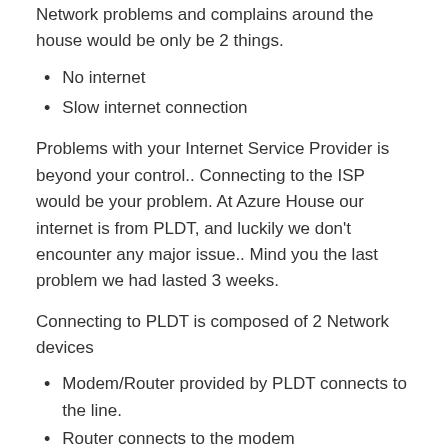Network problems and complains around the house would be only be 2 things.
No internet
Slow internet connection
Problems with your Internet Service Provider is beyond your control.. Connecting to the ISP would be your problem. At Azure House our internet is from PLDT, and luckily we don't encounter any major issue.. Mind you the last problem we had lasted 3 weeks.
Connecting to PLDT is composed of 2 Network devices
Modem/Router provided by PLDT connects to the line.
Router connects to the modem
PLDT now supplies WiFi router with their internet. Gone are the days that the modem and router are separate. But I am